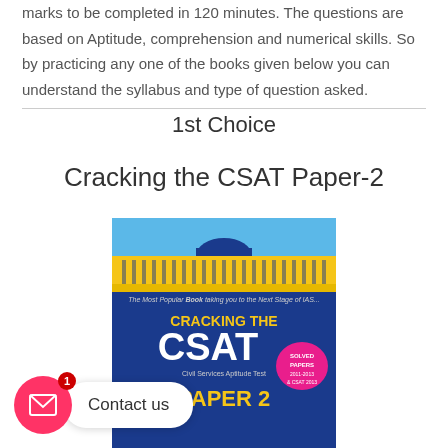marks to be completed in 120 minutes. The questions are based on Aptitude, comprehension and numerical skills. So by practicing any one of the books given below you can understand the syllabus and type of question asked.
1st Choice
Cracking the CSAT Paper-2
[Figure (photo): Book cover of 'Cracking the CSAT Paper-2' — blue and yellow cover showing Indian Parliament building, with text 'The Most Popular Book taking you to the Next Stage of IAS...' and 'CRACKING THE CSAT Civil Services Aptitude Test PAPER 2', with a pink badge reading 'SOLVED PAPERS 2011-2013 & CSAT 2013']
Contact us